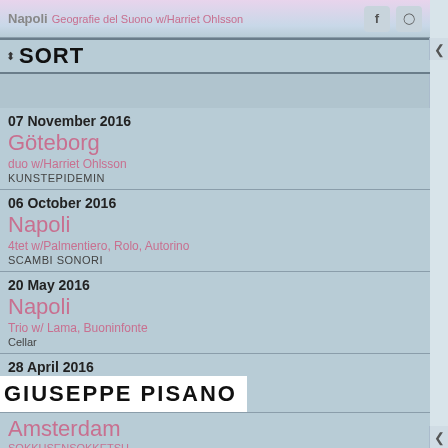Napoli | Geografie del Suono w/Harriet Ohlsson
07 November 2016 | Göteborg | duo w/Harriet Ohlsson | KUNSTEPIDEMIN
06 October 2016 | Napoli | 4tet w/Palmentiero, Rolo, Autorino | SCAMBI SONORI
20 May 2016 | Napoli | Trio w/ Lama, Buoninfonte | Cellar
28 April 2016 | Napoli | duo w/Harriet Ohlsson | HAVING THE FUTURE AT HOME
08 February 2016 | Den Haag | SOKKUSENSOKKETSU | Het Nutshuis
28 December 2015 | Napoli | WHISPERS x IL GRANDE VENTO 2015 | L'Asilo
GIUSEPPE PISANO
Amsterdam | SOKKUSENSOKKETSU